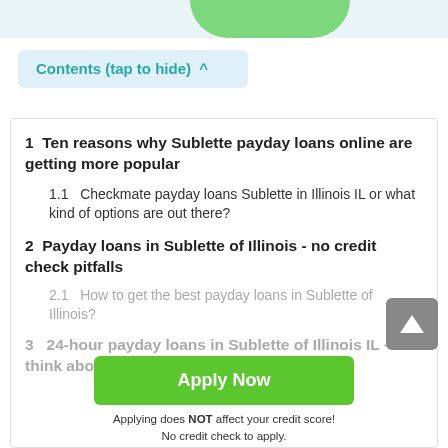Contents (tap to hide) ^
1  Ten reasons why Sublette payday loans online are getting more popular
1.1  Checkmate payday loans Sublette in Illinois IL or what kind of options are out there?
2  Payday loans in Sublette of Illinois - no credit check pitfalls
2.1  How to get the best payday loans in Sublette of Illinois?
3  24-hour payday loans in Sublette of Illinois IL – think abo...
[Figure (other): Green Apply Now button overlay with text: Apply Now. Below: Applying does NOT affect your credit score! No credit check to apply.]